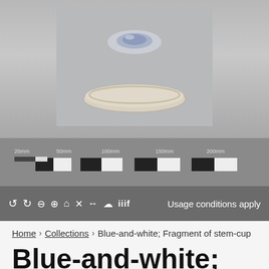[Figure (photo): Museum artifact photograph showing a ceramic stem-cup fragment (blue-and-white) with a measurement ruler/scale bar below it, set against a gray background.]
C ↺ 🔍 🔍 ⌂ ✕ ↔ ☁ iiif   Usage conditions apply
Home › Collections › Blue-and-white; Fragment of stem-cup
Blue-and-white; Fragment of stem-cup